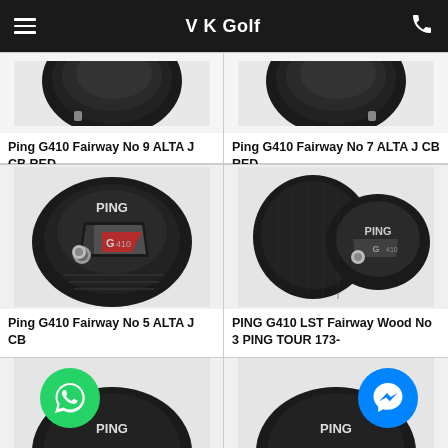V K Golf
[Figure (photo): Ping G410 Fairway No 9 golf club head, dark/black finish, top-down view]
Ping G410 Fairway No 9 ALTA J CB RED
[Figure (photo): Ping G410 Fairway No 7 golf club head, dark/black finish, top-down view]
Ping G410 Fairway No 7 ALTA J CB RED
[Figure (photo): Ping G410 Fairway No 5 golf club head, black finish with red accents, address view showing face]
Ping G410 Fairway No 5 ALTA J CB
[Figure (photo): PING G410 LST Fairway Wood No 3 golf club head with headcover, black finish]
PING G410 LST Fairway Wood No 3 PING TOUR 173-
[Figure (photo): Golf club head, dark finish, partial view at bottom]
[Figure (photo): Golf club head, dark finish, partial view at bottom]